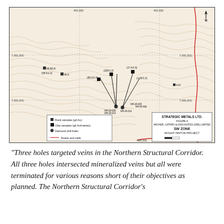[Figure (map): Topographic map of SW Zone, Mount Hinton Project. Shows rock samples (g/t Au), chip samples (g/t Au/metres), diamond drill holes (MH-20 series), and roads/trails. Grid coordinates shown: 7,081,000 and 7,081,500 on y-axis. Drill holes MH-20-020, MH-20-019, MH-20-013, MH-20-014, MH-20-025, MH-20-026 shown with fan-pattern drill traces. Rock sample values visible: 48.5, 13.8, 46.9, 9.67. Chip sample values: (200/1.2), (80.3/1.0), (17.4/1.5), (1.63/1.2), (50.5/1.2). Legend and inset title box: Strategic Metals Ltd., Figure 4, Archer Cathro & Associates (1981) Limited, SW Zone, Mount Hinton Project. North arrow shown top right.]
“Three holes targeted veins in the Northern Structural Corridor. All three holes intersected mineralized veins but all were terminated for various reasons short of their objectives as planned. The Northern Structural Corridor’s